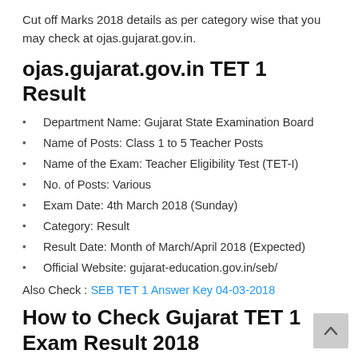Cut off Marks 2018 details as per category wise that you may check at ojas.gujarat.gov.in.
ojas.gujarat.gov.in TET 1 Result
Department Name: Gujarat State Examination Board
Name of Posts: Class 1 to 5 Teacher Posts
Name of the Exam: Teacher Eligibility Test (TET-I)
No. of Posts: Various
Exam Date: 4th March 2018 (Sunday)
Category: Result
Result Date: Month of March/April 2018 (Expected)
Official Website: gujarat-education.gov.in/seb/
Also Check : SEB TET 1 Answer Key 04-03-2018
How to Check Gujarat TET 1 Exam Result 2018